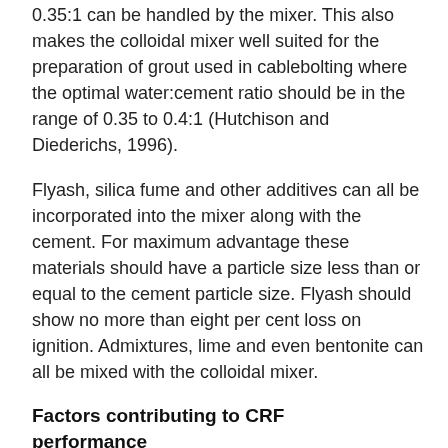0.35:1 can be handled by the mixer. This also makes the colloidal mixer well suited for the preparation of grout used in cablebolting where the optimal water:cement ratio should be in the range of 0.35 to 0.4:1 (Hutchison and Diederichs, 1996).
Flyash, silica fume and other additives can all be incorporated into the mixer along with the cement. For maximum advantage these materials should have a particle size less than or equal to the cement particle size. Flyash should show no more than eight per cent loss on ignition. Admixtures, lime and even bentonite can all be mixed with the colloidal mixer.
Factors contributing to CRF performance